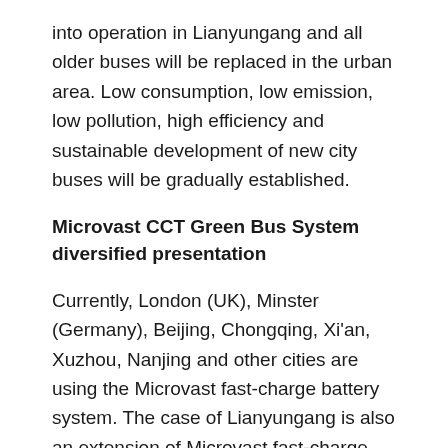into operation in Lianyungang and all older buses will be replaced in the urban area. Low consumption, low emission, low pollution, high efficiency and sustainable development of new city buses will be gradually established.
Microvast CCT Green Bus System diversified presentation
Currently, London (UK), Minster (Germany), Beijing, Chongqing, Xi'an, Xuzhou, Nanjing and other cities are using the Microvast fast-charge battery system. The case of Lianyungang is also an extension of Microvast fast-charge technology application. It will further optimize the public transportation network layout to rapid transit as the key line, tourist bus, customized bus, school bus, transit bus and community bus to diversified public transport network, and align with Microvast's CCT (Clean City Transport) strategy for the coordination of the diversified bus network.